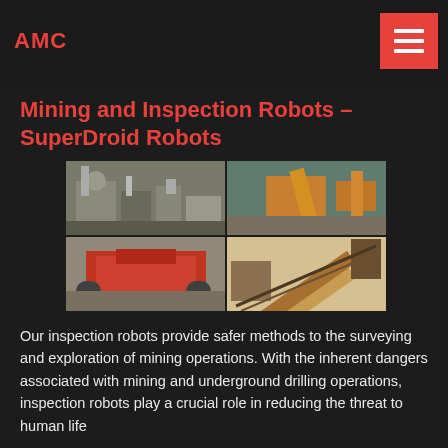AMC
Mining and Inspection Robots – SuperDroid Robots
[Figure (photo): Four-panel collage of mining and industrial equipment: top-left shows gray industrial processing equipment at a plant site, top-right shows an orange crane or conveyor structure at a mine, bottom-left shows a red mobile crusher/screening machine on gravel ground, bottom-right shows a large inclined conveyor belt structure.]
Our inspection robots provide safer methods to the surveying and exploration of mining operations. With the inherent dangers associated with mining and underground drilling operations, inspection robots play a crucial role in reducing the threat to human life